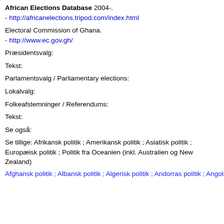African Elections Database 2004-.
- http://africanelections.tripod.com/index.html
Electoral Commission of Ghana.
- http://www.ec.gov.gh/
Præsidentsvalg:
Tekst:
Parlamentsvalg / Parliamentary elections:
Lokalvalg:
Folkeafstemninger / Referendums:
Tekst:
Se også:
Se tillige: Afrikansk politik ; Amerikansk politik ; Asiatisk politik ; Europæisk politik ; Politik fra Oceanien (inkl. Australien og New Zealand)
Afghansk politik ; Albansk politik ; Algerisk politik ; Andorras politik ; Angolas politik ; Antigua & Barbudas politik ; Argentinsk politik ; Armensk politik ; Aserbajdsjans politik ; Australsk politik ; Bahamaøerne politik ; Bahrains politik ; Bangladesh politik ; Barbados politik ; Belgisk politik ; Belizes politik ; Benins politik